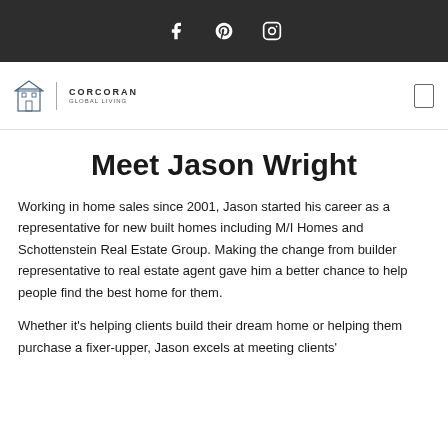Social media icons: Facebook, Pinterest, Instagram
[Figure (logo): Corcoran real estate logo with building icon and brand name]
Meet Jason Wright
Working in home sales since 2001, Jason started his career as a representative for new built homes including M/I Homes and Schottenstein Real Estate Group. Making the change from builder representative to real estate agent gave him a better chance to help people find the best home for them.
Whether it's helping clients build their dream home or helping them purchase a fixer-upper, Jason excels at meeting clients'